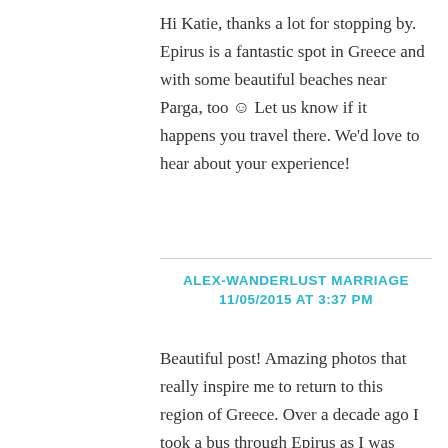Hi Katie, thanks a lot for stopping by. Epirus is a fantastic spot in Greece and with some beautiful beaches near Parga, too ☺ Let us know if it happens you travel there. We'd love to hear about your experience!
ALEX-WANDERLUST MARRIAGE
11/05/2015 AT 3:37 PM
Beautiful post! Amazing photos that really inspire me to return to this region of Greece. Over a decade ago I took a bus through Epirus as I was travelling to Corfu. I was really struck by its beauty and I've wanted to return on…